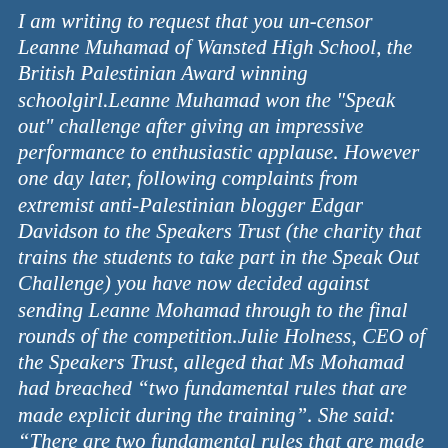I am writing to request that you un-censor Leanne Muhamad of Wansted High School, the British Palestinian Award winning schoolgirl.Leanne Muhamad won the "Speak out" challenge after giving an impressive performance to enthusiastic applause. However one day later, following complaints from extremist anti-Palestinian blogger Edgar Davidson to the Speakers Trust (the charity that trains the students to take part in the Speak Out Challenge) you have now decided against sending Leanne Mohamad through to the final rounds of the competition.Julie Holness, CEO of the Speakers Trust, alleged that Ms Mohamad had breached “two fundamental rules that are made explicit during the training”. She said: “There are two fundamental rules that are made explicit during the training: the speech must have a positive and uplifting message - in fact this is one of the core terms of the agreement with the Jack Petchey Foundation [and] a speaker should never inflame or offend the audience or insult others and this, by definition, means that propaganda is ruled out